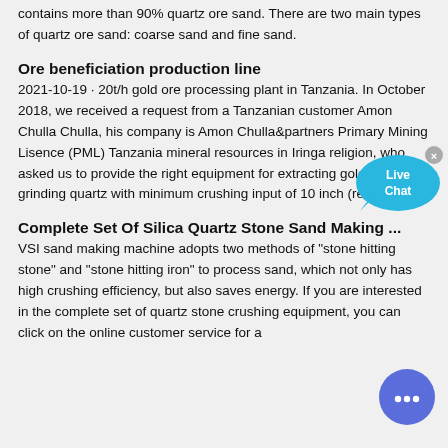contains more than 90% quartz ore sand. There are two main types of quartz ore sand: coarse sand and fine sand.
Ore beneficiation production line
2021-10-19 · 20t/h gold ore processing plant in Tanzania. In October 2018, we received a request from a Tanzanian customer Amon Chulla Chulla, his company is Amon Chulla&partners Primary Mining Lisence (PML) Tanzania mineral resources in Iringa religion, who asked us to provide the right equipment for extracting gold from the grinding quartz with minimum crushing input of 10 inch (required …
Complete Set Of Silica Quartz Stone Sand Making ...
VSI sand making machine adopts two methods of "stone hitting stone" and "stone hitting iron" to process sand, which not only has high crushing efficiency, but also saves energy. If you are interested in the complete set of quartz stone crushing equipment, you can click on the online customer service for a